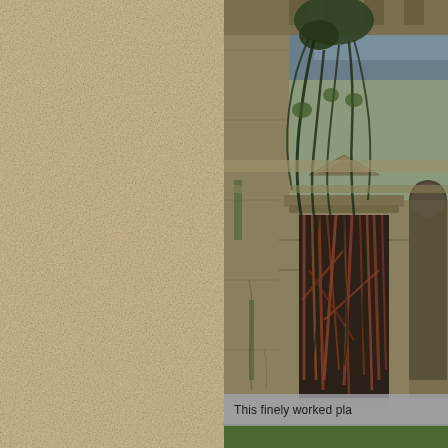[Figure (illustration): Fantasy/game art illustration showing an ancient stone gate or entrance structure with massive carved stone walls, twisted vines and roots climbing over the top, a rusted broken iron gate in the center, arched passages visible on the right, and green grass at the bottom. The scene is atmospheric with a dark sky visible at the upper right.]
This finely worked pla